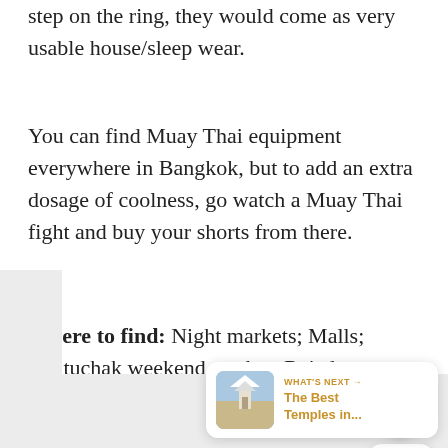step on the ring, they would come as very usable house/sleep wear.
You can find Muay Thai equipment everywhere in Bangkok, but to add an extra dosage of coolness, go watch a Muay Thai fight and buy your shorts from there.
Where to find: Night markets; Malls; Chatuchak weekend market; Rajadamnern Boxing Stadium
[Figure (screenshot): UI overlay with heart/like button (gold circle with heart icon), count badge showing 4, share button, and a 'What's Next' card showing 'The Best Temples in...' with a temple thumbnail image.]